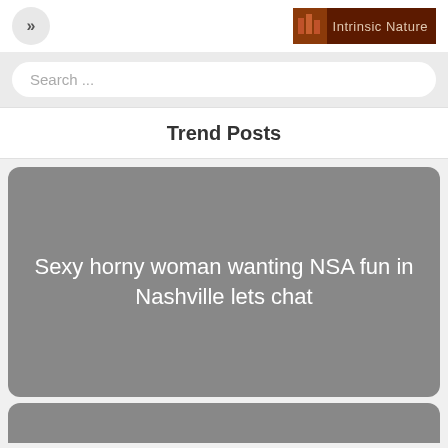>> | Intrinsic Nature
Search ...
Trend Posts
Sexy horny woman wanting NSA fun in Nashville lets chat